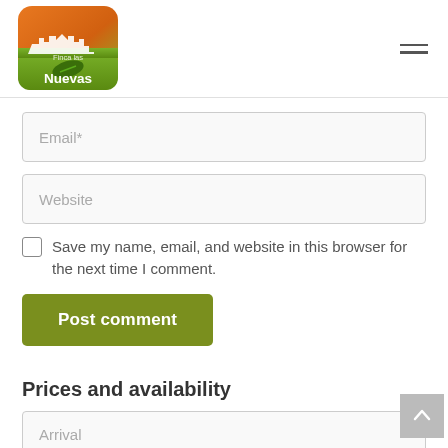[Figure (logo): Finca las Nuevas logo — rounded square with orange/green gradient background showing building silhouette and leaf, white text 'Finca las Nuevas']
Email*
Website
Save my name, email, and website in this browser for the next time I comment.
Post comment
Prices and availability
Arrival